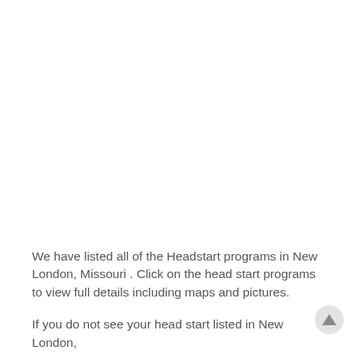We have listed all of the Headstart programs in New London, Missouri . Click on the head start programs to view full details including maps and pictures.
If you do not see your head start listed in New London,